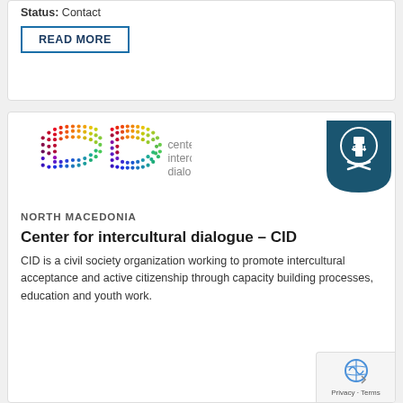Status: Contact
Read more
[Figure (logo): Center for Intercultural Dialogue (CID) logo with colorful dot pattern forming two C shapes, alongside SCI badge]
NORTH MACEDONIA
Center for intercultural dialogue – CID
CID is a civil society organization working to promote intercultural acceptance and active citizenship through capacity building processes, education and youth work.